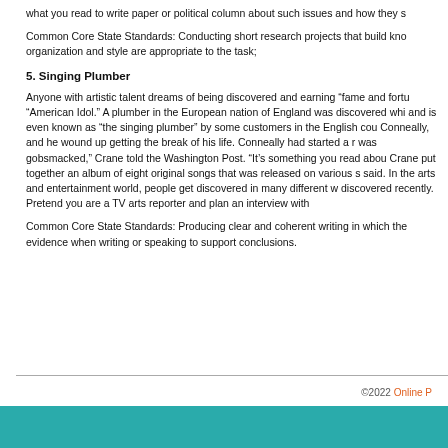what you read to write paper or political column about such issues and how they s
Common Core State Standards: Conducting short research projects that build kno organization and style are appropriate to the task;
5. Singing Plumber
Anyone with artistic talent dreams of being discovered and earning “fame and fortu “American Idol.” A plumber in the European nation of England was discovered whi and is even known as “the singing plumber” by some customers in the English cou Conneally, and he wound up getting the break of his life. Conneally had started a r was gobsmacked,” Crane told the Washington Post. “It’s something you read abou Crane put together an album of eight original songs that was released on various s said. In the arts and entertainment world, people get discovered in many different w discovered recently. Pretend you are a TV arts reporter and plan an interview with
Common Core State Standards: Producing clear and coherent writing in which the evidence when writing or speaking to support conclusions.
©2022 Online P